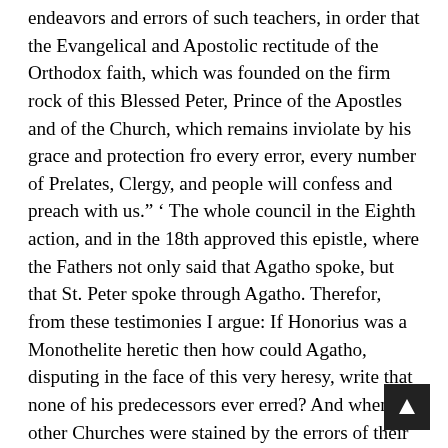endeavors and errors of such teachers, in order that the Evangelical and Apostolic rectitude of the Orthodox faith, which was founded on the firm rock of this Blessed Peter, Prince of the Apostles and of the Church, which remains inviolate by his grace and protection fro every error, every number of Prelates, Clergy, and people will confess and preach with us.” ‘ The whole council in the Eighth action, and in the 18th approved this epistle, where the Fathers not only said that Agatho spoke, but that St. Peter spoke through Agatho. Therefor, from these testimonies I argue: If Honorius was a Monothelite heretic then how could Agatho, disputing in the face of this very heresy, write that none of his predecessors ever erred? And when the other Churches were stained by the errors of their Prelates, only the Roman Church remained intact? Then, if the Council affirmed that Peter spoke through Agatho, and said: ‘ “the Roman Pontiffs always confirmed their brethren in faith, and never succumbed to heresy,” ‘ with what temerity would the same Council in nearly